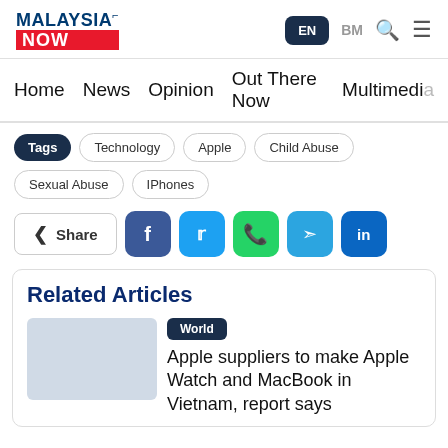MALAYSIA NOW
EN  BM
Home  News  Opinion  Out There Now  Multimedia
Tags  Technology  Apple  Child Abuse  Sexual Abuse  IPhones
Share
Related Articles
World
Apple suppliers to make Apple Watch and MacBook in Vietnam, report says